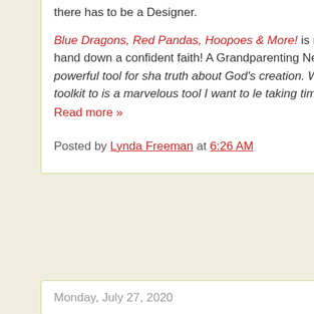there has to be a Designer.
Blue Dragons, Red Pandas, Hoopoes & More! is more than just an ani hand down a confident faith! A Grandparenting Network said great and powerful tool for sha truth about God's creation. We have this tool in their toolkit to is a marvelous tool I want to le taking time with your grandso
Read more »
Posted by Lynda Freeman at 6:26 AM
Monday, July 27, 2020